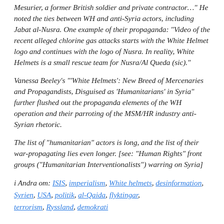Mesurier, a former British soldier and private contractor…" He noted the ties between WH and anti-Syria actors, including Jabat al-Nusra. One example of their propaganda: "Video of the recent alleged chlorine gas attacks starts with the White Helmet logo and continues with the logo of Nusra. In reality, White Helmets is a small rescue team for Nusra/Al Queda (sic)."
Vanessa Beeley's "'White Helmets': New Breed of Mercenaries and Propagandists, Disguised as 'Humanitarians' in Syria" further flushed out the propaganda elements of the WH operation and their parroting of the MSM/HR industry anti-Syrian rhetoric.
The list of "humanitarian" actors is long, and the list of their war-propagating lies even longer. [see: "Human Rights" front groups ("Humanitarian Interventionalists") warring on Syria]
i Andra om: ISIS, imperialism, White helmets, desinformation, Syrien, USA, politik, al-Qaida, flyktingar, terrorism, Ryssland, demokrati